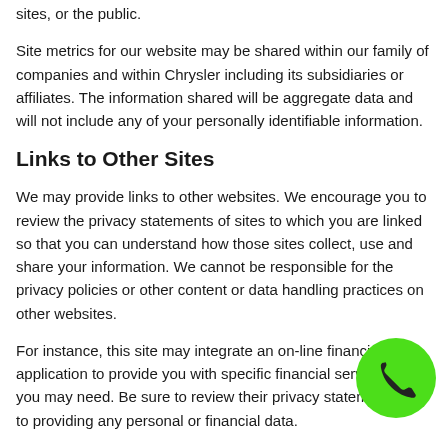sites, or the public.
Site metrics for our website may be shared within our family of companies and within Chrysler including its subsidiaries or affiliates. The information shared will be aggregate data and will not include any of your personally identifiable information.
Links to Other Sites
We may provide links to other websites. We encourage you to review the privacy statements of sites to which you are linked so that you can understand how those sites collect, use and share your information. We cannot be responsible for the privacy policies or other content or data handling practices on other websites.
For instance, this site may integrate an on-line financing application to provide you with specific financial services that you may need. Be sure to review their privacy statement prior to providing any personal or financial data.
Children's Privacy